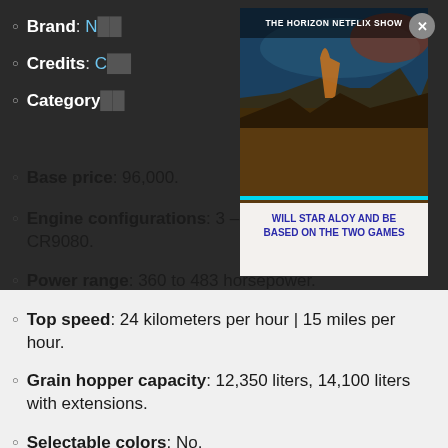Brand: [partially obscured]
Credits: [partially obscured]
Category: [partially obscured]
[Figure (screenshot): Ad overlay for 'The Horizon Netflix Show Will Star Aloy and Be Based on the Two Games' with gaming imagery and a close button (X) in the corner]
Base price: 96,000.
Engine configurations: 3 – CR9060, CR9070, and CR9080.
Power range: 360 to 483 horsepower.
Top speed: 24 kilometers per hour | 15 miles per hour.
Grain hopper capacity: 12,350 liters, 14,100 liters with extensions.
Selectable colors: No.
Selectable wheels: Yes.
Wheel brands: Firestone, Goodyear, Michelin,